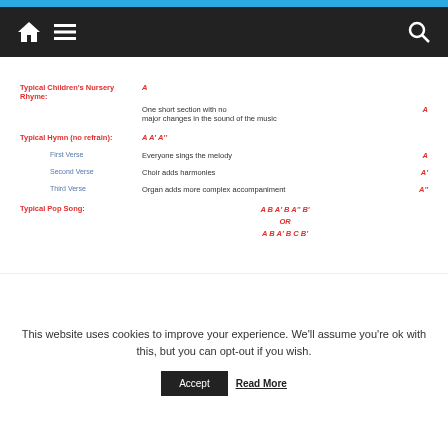Navigation bar with home, menu, and search icons
| Category | Description | Code |
| --- | --- | --- |
| Typical Children's Nursery Rhyme: | A |  |
|  | One short section with no major changes in the sound of the music | A |
| Typical Hymn (no refrain): | A A' A' |  |
| First Verse | Everyone sings the melody | A |
| Second Verse | Choir adds harmonies | A' |
| Third Verse | Organ adds more complex accompaniment | A'' |
| Typical Pop Song: | A B A' B A'' B'
OR
A B A' B C B' |  |
This website uses cookies to improve your experience. We'll assume you're ok with this, but you can opt-out if you wish.
Accept | Read More